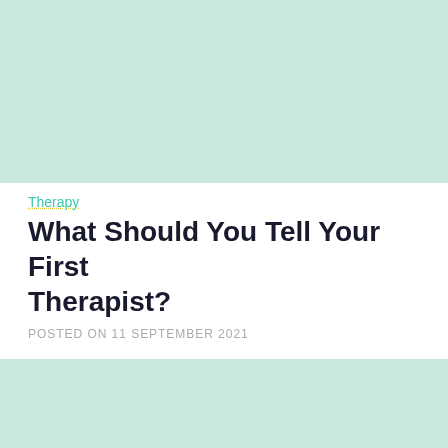[Figure (illustration): Light mint/teal colored placeholder image rectangle at top of page]
Therapy
What Should You Tell Your First Therapist?
POSTED ON 11 SEPTEMBER 2021
[Figure (illustration): Light mint/teal colored placeholder image rectangle below article header]
[Figure (illustration): Circular grey avatar/profile icon for author Max]
Max